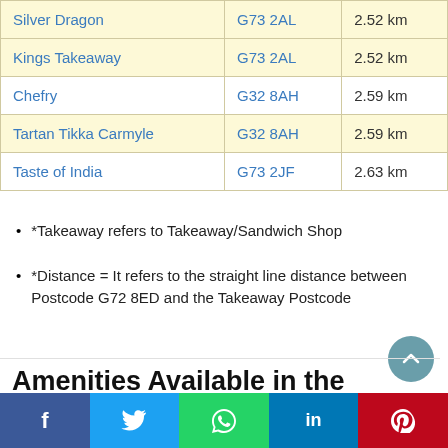| Name | Postcode | Distance |
| --- | --- | --- |
| Silver Dragon | G73 2AL | 2.52 km |
| Kings Takeaway | G73 2AL | 2.52 km |
| Chefry | G32 8AH | 2.59 km |
| Tartan Tikka Carmyle | G32 8AH | 2.59 km |
| Taste of India | G73 2JF | 2.63 km |
*Takeaway refers to Takeaway/Sandwich Shop
*Distance = It refers to the straight line distance between Postcode G72 8ED and the Takeaway Postcode
Amenities Available in the Neighbourhood
Golf Clubs